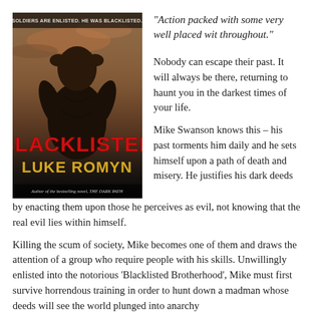[Figure (photo): Book cover for 'Blacklisted' by Luke Romyn, showing a muscular man with hands on head from behind against a dramatic sky background, with red text 'BLACKLISTED' and gold text 'LUKE ROMYN'. Tagline at top: 'SOLDIERS ARE ENLISTED. HE WAS BLACKLISTED.' Subtitle: 'Author of the bestselling novel, THE DARK PATH']
“Action packed with some very well placed wit throughout.”
Nobody can escape their past. It will always be there, returning to haunt you in the darkest times of your life.
Mike Swanson knows this – his past torments him daily and he sets himself upon a path of death and misery. He justifies his dark deeds by enacting them upon those he perceives as evil, not knowing that the real evil lies within himself.
Killing the scum of society, Mike becomes one of them and draws the attention of a group who require people with his skills. Unwillingly enlisted into the notorious ‘Blacklisted Brotherhood’, Mike must first survive horrendous training in order to hunt down a madman whose deeds will see the world plunged into anarchy